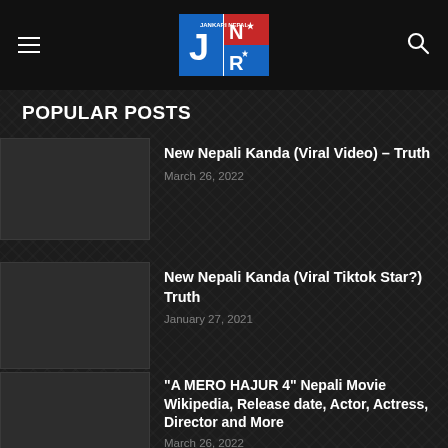Jankari Nepal – Navigation header with menu and search icons
POPULAR POSTS
New Nepali Kanda (Viral Video) – Truth
March 26, 2022
New Nepali Kanda (Viral Tiktok Star?) Truth
January 27, 2021
"A MERO HAJUR 4" Nepali Movie Wikipedia, Release date, Actor, Actress, Director and More
March 26, 2022